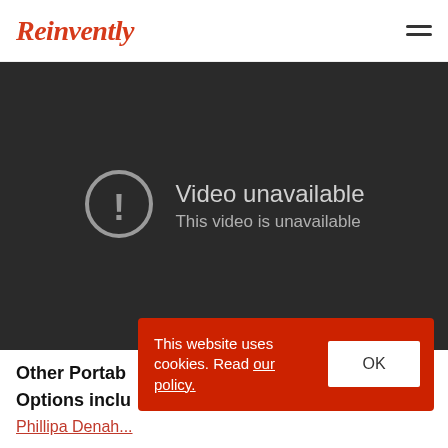Reinvently
[Figure (screenshot): Video player showing 'Video unavailable. This video is unavailable.' error message on a dark background.]
This website uses cookies. Read our policy.
Other Portab...
Options inclu...